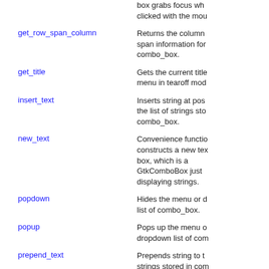box grabs focus when clicked with the mouse
get_row_span_column — Returns the column span information for combo_box.
get_title — Gets the current title of the menu in tearoff mode
insert_text — Inserts string at position in the list of strings stored in combo_box.
new_text — Convenience function that constructs a new text combo box, which is a GtkComboBox just displaying strings.
popdown — Hides the menu or dropdown list of combo_box.
popup — Pops up the menu or dropdown list of combo
prepend_text — Prepends string to the list of strings stored in combo
remove_text — Removes the string at position from combo